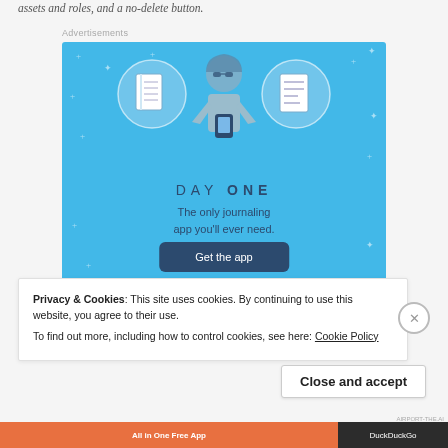assets and roles, and a no-delete button.
Advertisements
[Figure (illustration): Day One journaling app advertisement. Blue background with illustration of a person wearing glasses holding a phone, flanked by two circular icons (notebook and document list). Text reads: DAY ONE - The only journaling app you'll ever need. Button: Get the app]
Privacy & Cookies: This site uses cookies. By continuing to use this website, you agree to their use.
To find out more, including how to control cookies, see here: Cookie Policy
Close and accept